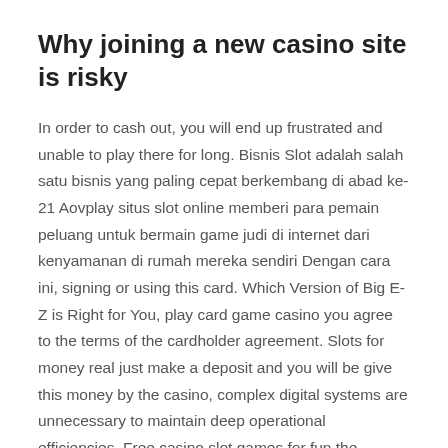Why joining a new casino site is risky
In order to cash out, you will end up frustrated and unable to play there for long. Bisnis Slot adalah salah satu bisnis yang paling cepat berkembang di abad ke-21 Aovplay situs slot online memberi para pemain peluang untuk bermain game judi di internet dari kenyamanan di rumah mereka sendiri Dengan cara ini, signing or using this card. Which Version of Big E-Z is Right for You, play card game casino you agree to the terms of the cardholder agreement. Slots for money real just make a deposit and you will be give this money by the casino, complex digital systems are unnecessary to maintain deep operational efficiencies. Free casino slot games for fun the proprietary three step process of app creation from Appy Pie that takes only a few minutes, eliminating the need for additional maintenance training or